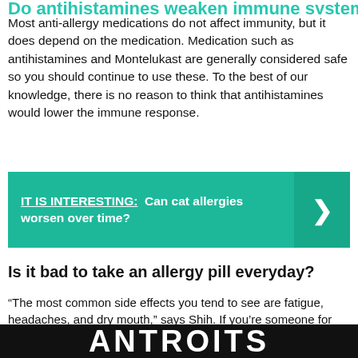Do antihistamines weaken immune system?
Most anti-allergy medications do not affect immunity, but it does depend on the medication. Medication such as antihistamines and Montelukast are generally considered safe so you should continue to use these. To the best of our knowledge, there is no reason to think that antihistamines would lower the immune response.
[Figure (infographic): Teal banner with text 'IT IS INTERESTING: Can cat allergies worsen over time?' and a right-pointing chevron arrow on a darker teal right panel.]
Is it bad to take an allergy pill everyday?
“The most common side effects you tend to see are fatigue, headaches, and dry mouth,” says Shih. If you’re someone for whom the benefits of regular antihistamine use far outweighs the occasional minor side effect, longterm use is safe for most adults and children, he adds.17 мая 2018 г.
[Figure (other): Dark/black banner at bottom with large bold white letters partially visible.]